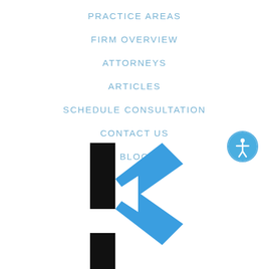PRACTICE AREAS
FIRM OVERVIEW
ATTORNEYS
ARTICLES
SCHEDULE CONSULTATION
CONTACT US
BLOG
[Figure (logo): Law firm logo with black vertical bar and blue angular chevron/arrow shape forming a stylized letter K]